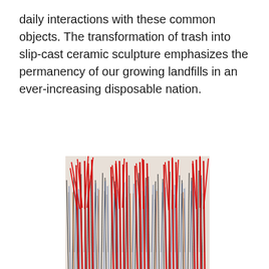daily interactions with these common objects. The transformation of trash into slip-cast ceramic sculpture emphasizes the permanency of our growing landfills in an ever-increasing disposable nation.
[Figure (photo): A dense, bristly sculptural object covered in red, white, blue, black, and multicolored shredded plastic or tinsel-like strands arranged in vertical columns, photographed against a white background. The top of the object is jagged and spiky.]